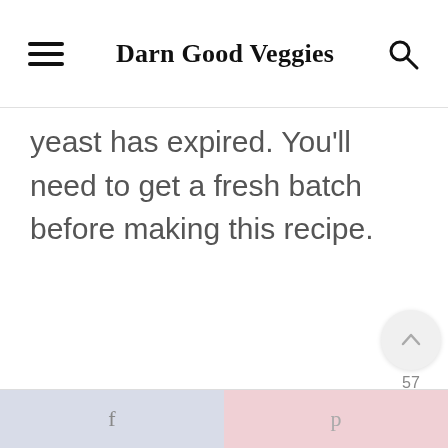Darn Good Veggies
yeast has expired. You'll need to get a fresh batch before making this recipe.
[Figure (other): Floating UI buttons: up-arrow button, count 57, heart button, search button (green)]
f   p